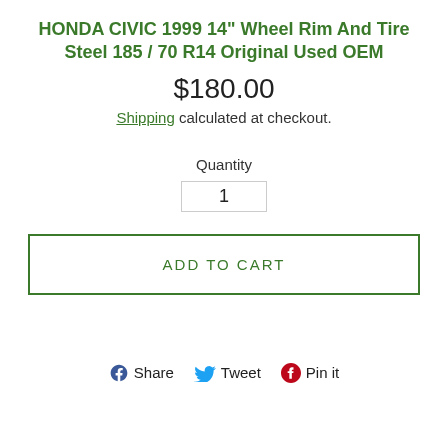HONDA CIVIC 1999 14" Wheel Rim And Tire Steel 185 / 70 R14 Original Used OEM
$180.00
Shipping calculated at checkout.
Quantity
1
ADD TO CART
Share  Tweet  Pin it